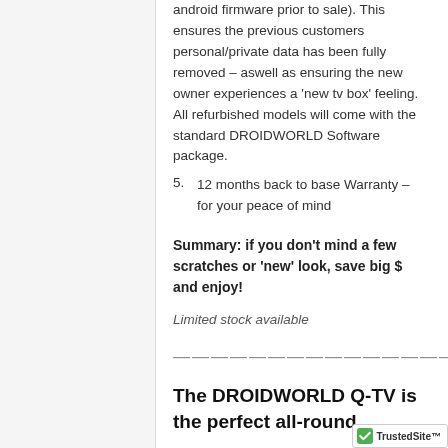android firmware prior to sale). This ensures the previous customers personal/private data has been fully removed – aswell as ensuring the new owner experiences a 'new tv box' feeling. All refurbished models will come with the standard DROIDWORLD Software package.
5. 12 months back to base Warranty – for your peace of mind
Summary: if you don't mind a few scratches or 'new' look, save big $ and enjoy!
Limited stock available
————————————————
The DROIDWORLD Q-TV is the perfect all-round…